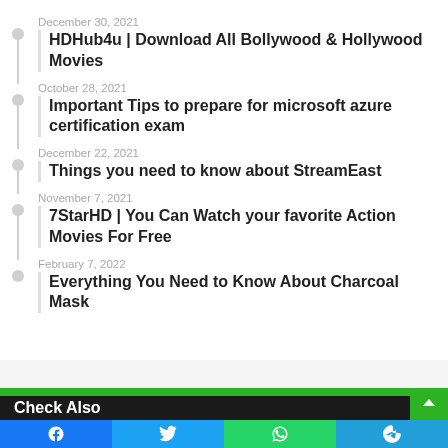December 30, 2021
HDHub4u | Download All Bollywood & Hollywood Movies
October 28, 2021
Important Tips to prepare for microsoft azure certification exam
December 22, 2021
Things you need to know about StreamEast
November 7, 2021
7StarHD | You Can Watch your favorite Action Movies For Free
February 7, 2022
Everything You Need to Know About Charcoal Mask
Check Also
Facebook Twitter WhatsApp Telegram